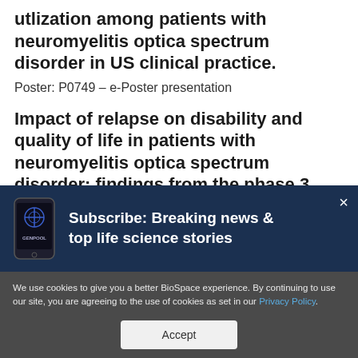utlization among patients with neuromyelitis optica spectrum disorder in US clinical practice.
Poster: P0749 – e-Poster presentation
Impact of relapse on disability and quality of life in patients with neuromyelitis optica spectrum disorder: findings from the phase 3
[Figure (screenshot): Subscribe banner with phone icon showing GENPOOL app and text: Subscribe: Breaking news & top life science stories, with close X button]
We use cookies to give you a better BioSpace experience. By continuing to use our site, you are agreeing to the use of cookies as set in our Privacy Policy.
Accept